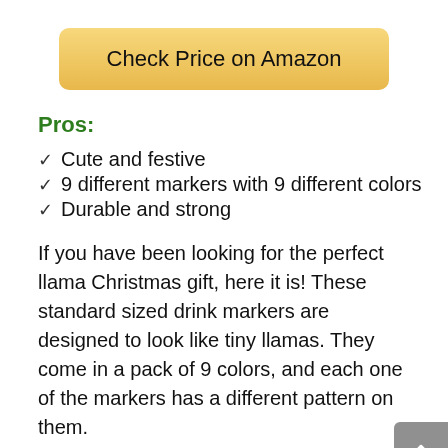[Figure (other): Golden rounded rectangle button with text 'Check Price on Amazon']
Pros:
Cute and festive
9 different markers with 9 different colors
Durable and strong
If you have been looking for the perfect llama Christmas gift, here it is! These standard sized drink markers are designed to look like tiny llamas. They come in a pack of 9 colors, and each one of the markers has a different pattern on them.